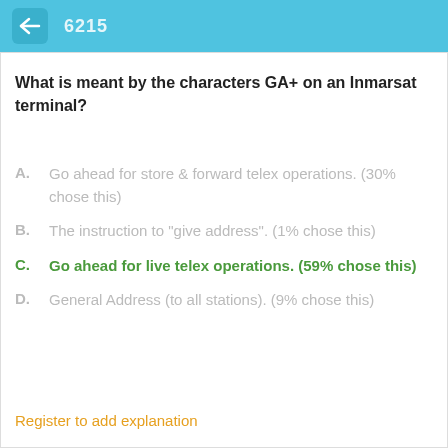6215
What is meant by the characters GA+ on an Inmarsat terminal?
A. Go ahead for store & forward telex operations. (30% chose this)
B. The instruction to 'give address'. (1% chose this)
C. Go ahead for live telex operations. (59% chose this)
D. General Address (to all stations). (9% chose this)
Register to add explanation